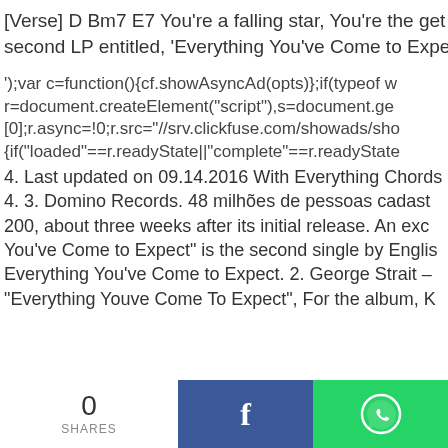[Verse] D Bm7 E7 You're a falling star, You're the get away car, second LP entitled, 'Everything You've Come to Expect
');var c=function(){cf.showAsyncAd(opts)};if(typeof w r=document.createElement("script"),s=document.ge [0];r.async=!0;r.src="//srv.clickfuse.com/showads/sho {if("loaded"==r.readyState||"complete"==r.readyState
4. Last updated on 09.14.2016 With Everything Chords 4. 3. Domino Records. 48 milhões de pessoas cadast 200, about three weeks after its initial release. An exc You've Come to Expect" is the second single by Englis Everything You've Come to Expect. 2. George Strait – "Everything Youve Come To Expect", For the album, K
0 SHARES
[Figure (infographic): Social share bar with 0 SHARES count, Facebook button (blue), and WhatsApp button (green)]